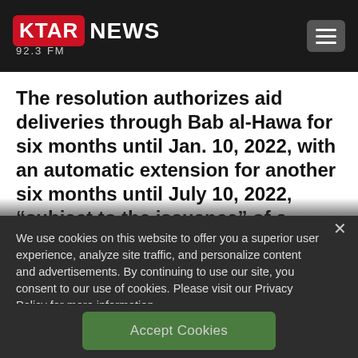[Figure (logo): KTAR News 92.3 FM logo — red rounded rectangle with white bold KTAR text, followed by white bold NEWS text, and 92.3 FM subtitle in gray]
The resolution authorizes aid deliveries through Bab al-Hawa for six months until Jan. 10, 2022, with an automatic extension for another six months until July 10, 2022, “subject to the issuance” of a “substantive
We use cookies on this website to offer you a superior user experience, analyze site traffic, and personalize content and advertisements. By continuing to use our site, you consent to our use of cookies. Please visit our Privacy Policy for more information.
Accept Cookies